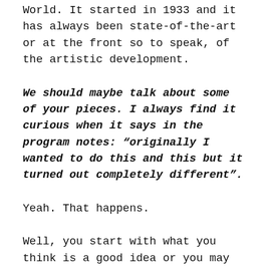World. It started in 1933 and it has always been state-of-the-art or at the front so to speak, of the artistic development.
We should maybe talk about some of your pieces. I always find it curious when it says in the program notes: “originally I wanted to do this and this but it turned out completely different”.
Yeah. That happens.
Well, you start with what you think is a good idea or you may be very excited about it and you start working and you start to generate sonic materials like that, but it happens also, or it happens to me